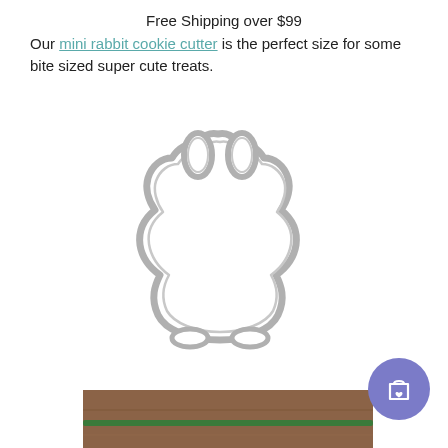Free Shipping over $99
Our mini rabbit cookie cutter is the perfect size for some bite sized super cute treats.
[Figure (photo): A metal mini rabbit cookie cutter in silver/stainless steel on a white background]
[Figure (photo): Several small bunny-shaped cookies on a wooden surface, some decorated with dots and lines]